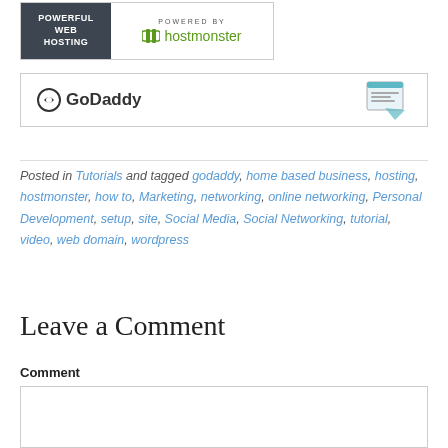[Figure (logo): HostMonster web hosting banner with dark grey left panel saying POWERFUL WEB HOSTING and white right panel saying POWERED BY hostmonster with green logo]
[Figure (logo): GoDaddy banner with GoDaddy logo on left and a website/hosting icon on right]
Posted in Tutorials and tagged godaddy, home based business, hosting, hostmonster, how to, Marketing, networking, online networking, Personal Development, setup, site, Social Media, Social Networking, tutorial, video, web domain, wordpress
Leave a Comment
Comment